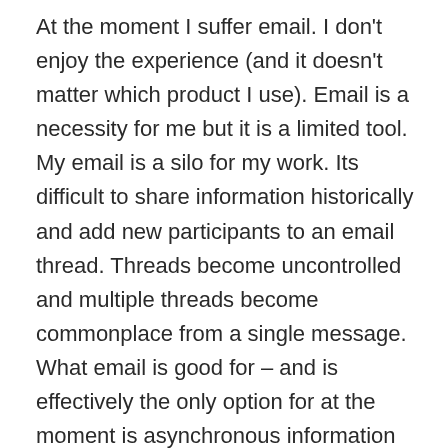At the moment I suffer email.  I don't enjoy the experience (and it doesn't matter which product I use).  Email is a necessity for me but it is a limited tool.  My email is a silo for my work.  Its difficult to share information historically and add new participants to an email thread.  Threads become uncontrolled and multiple threads become commonplace from a single message.  What email is good for – and is effectively the only option for at the moment is asynchronous information sharing on a small scale.  I know there are team workspaces and peer to peer products like Groove but they don't fill the gap I use email for.  I liken email to my television viewing.  I don't watch much TV and when I do it is pre-recorded so I don't watch the adverts.  Email is the same for me as I group it all up and deal with it 2-3 times per day and most email gets previewed (not fully read)